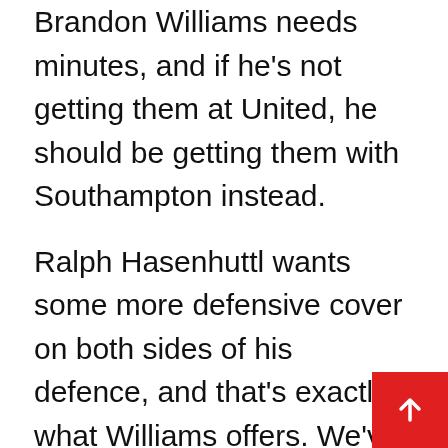Brandon Williams needs minutes, and if he's not getting them at United, he should be getting them with Southampton instead.
Ralph Hasenhuttl wants some more defensive cover on both sides of his defence, and that's exactly what Williams offers. We've already seen him impress in the Premier League, so he'll almost certainly slot in well.
Outside of some extra depth, Southampton don't need much work. Hasenhuttl has his Saints soaring high, and he won't want to risk upsetting the balance of the squad.